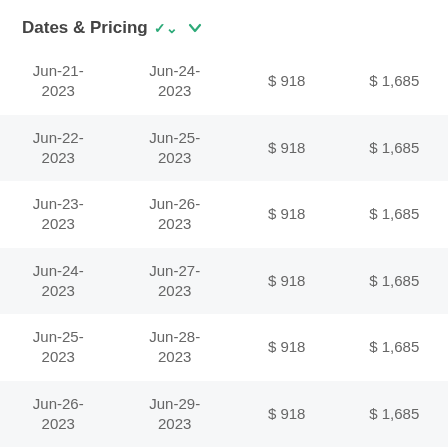Dates & Pricing
| Start Date | End Date | Price (per person) | Price (double) |
| --- | --- | --- | --- |
| Jun-21-2023 | Jun-24-2023 | $ 918 | $ 1,685 |
| Jun-22-2023 | Jun-25-2023 | $ 918 | $ 1,685 |
| Jun-23-2023 | Jun-26-2023 | $ 918 | $ 1,685 |
| Jun-24-2023 | Jun-27-2023 | $ 918 | $ 1,685 |
| Jun-25-2023 | Jun-28-2023 | $ 918 | $ 1,685 |
| Jun-26-2023 | Jun-29-2023 | $ 918 | $ 1,685 |
| Jun-27-... | Jun-30-... | $ 918 | $ 1,685 |